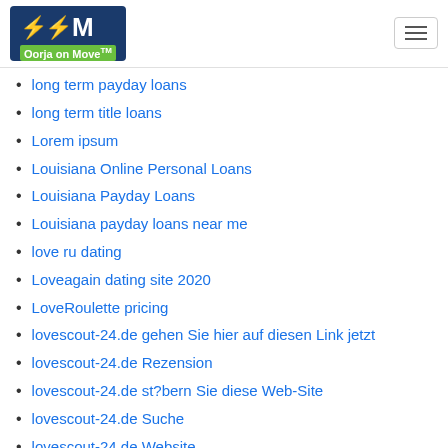Oorja on Move
long term payday loans
long term title loans
Lorem ipsum
Louisiana Online Personal Loans
Louisiana Payday Loans
Louisiana payday loans near me
love ru dating
Loveagain dating site 2020
LoveRoulette pricing
lovescout-24.de gehen Sie hier auf diesen Link jetzt
lovescout-24.de Rezension
lovescout-24.de st?bern Sie diese Web-Site
lovescout-24.de Suche
lovescout-24.de Website
lovescout247.de Internet
lovescout247.de Mobile Seite